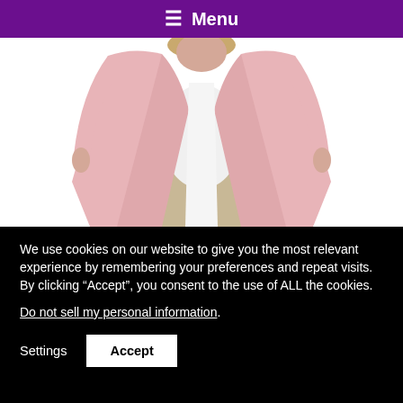☰ Menu
[Figure (photo): A woman wearing a pink open-front cardigan over a white top and khaki pants, photographed from waist up against a white background.]
We use cookies on our website to give you the most relevant experience by remembering your preferences and repeat visits. By clicking “Accept”, you consent to the use of ALL the cookies.
Do not sell my personal information.
Settings
Accept